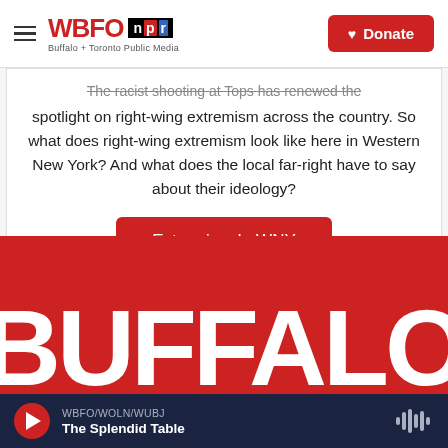WBFO npr — Buffalo + Toronto Public Media | Donate
The racist shooting at Tops has renewed the spotlight on right-wing extremism across the country. So what does right-wing extremism look like here in Western New York? And what does the local far-right have to say about their ideology?
Extremism In WNY
[Figure (photo): Red background image with large white bold text reading BUFFALO]
WBFO/WOLN/WUBJ | The Splendid Table